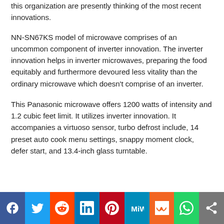this organization are presently thinking of the most recent innovations.
NN-SN67KS model of microwave comprises of an uncommon component of inverter innovation. The inverter innovation helps in inverter microwaves, preparing the food equitably and furthermore devoured less vitality than the ordinary microwave which doesn't comprise of an inverter.
This Panasonic microwave offers 1200 watts of intensity and 1.2 cubic feet limit. It utilizes inverter innovation. It accompanies a virtuoso sensor, turbo defrost include, 14 preset auto cook menu settings, snappy moment clock, defer start, and 13.4-inch glass turntable.
Social share bar: Facebook, Twitter, Reddit, LinkedIn, Pinterest, MeWe, Mix, WhatsApp, Share